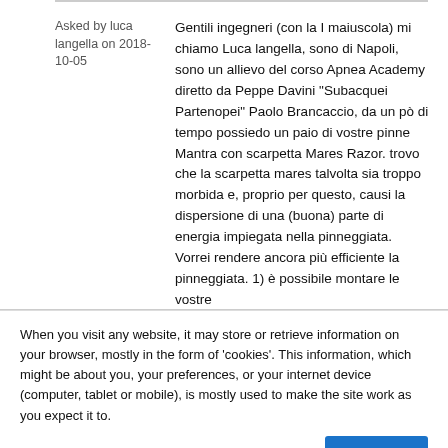Asked by luca langella on 2018-10-05
Gentili ingegneri (con la I maiuscola) mi chiamo Luca langella, sono di Napoli, sono un allievo del corso Apnea Academy diretto da Peppe Davini "Subacquei Partenopei" Paolo Brancaccio, da un pò di tempo possiedo un paio di vostre pinne Mantra con scarpetta Mares Razor. trovo che la scarpetta mares talvolta sia troppo morbida e, proprio per questo, causi la dispersione di una (buona) parte di energia impiegata nella pinneggiata. Vorrei rendere ancora più efficiente la pinneggiata. 1) è possibile montare le vostre
When you visit any website, it may store or retrieve information on your browser, mostly in the form of 'cookies'. This information, which might be about you, your preferences, or your internet device (computer, tablet or mobile), is mostly used to make the site work as you expect it to.